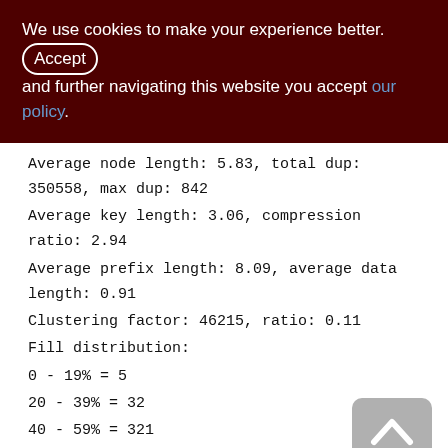We use cookies to make your experience better. By accepting and further navigating this website you accept our policy.
Average node length: 5.83, total dup: 350558, max dup: 842
Average key length: 3.06, compression ratio: 2.94
Average prefix length: 8.09, average data length: 0.91
Clustering factor: 46215, ratio: 0.11
Fill distribution:
0 - 19% = 5
20 - 39% = 32
40 - 59% = 321
60 - 79% = 111